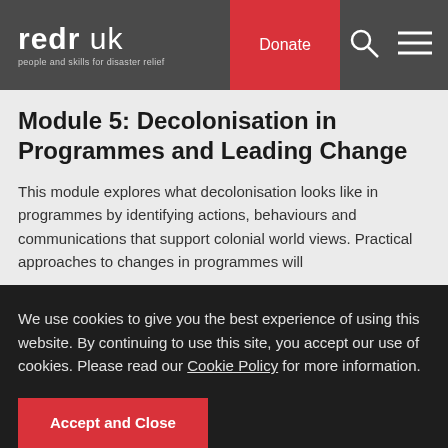redr uk — people and skills for disaster relief | Donate | Search | Menu
Module 5: Decolonisation in Programmes and Leading Change
This module explores what decolonisation looks like in programmes by identifying actions, behaviours and communications that support colonial world views. Practical approaches to changes in programmes will
We use cookies to give you the best experience of using this website. By continuing to use this site, you accept our use of cookies. Please read our Cookie Policy for more information.
Accept and Close